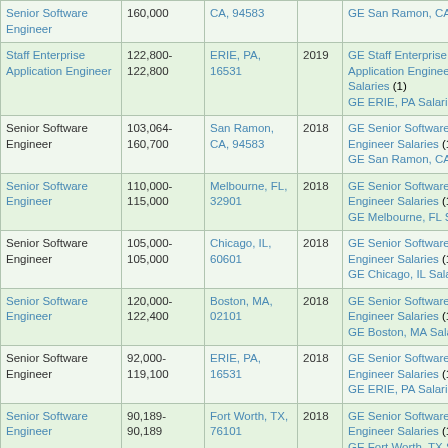| Job Title | Salary Range | Location | Year | Related |
| --- | --- | --- | --- | --- |
| Senior Software Engineer | 160,000 | CA, 94583 | 2019 | GE San Ramon, CA Salaries |
| Staff Enterprise Application Engineer | 122,800-122,800 | ERIE, PA, 16531 | 2019 | GE Staff Enterprise Application Engineer Salaries (1) GE ERIE, PA Salaries |
| Senior Software Engineer | 103,064-160,700 | San Ramon, CA, 94583 | 2018 | GE Senior Software Engineer Salaries (116) GE San Ramon, CA Salaries |
| Senior Software Engineer | 110,000-115,000 | Melbourne, FL, 32901 | 2018 | GE Senior Software Engineer Salaries (116) GE Melbourne, FL Salaries |
| Senior Software Engineer | 105,000-105,000 | Chicago, IL, 60601 | 2018 | GE Senior Software Engineer Salaries (116) GE Chicago, IL Salaries |
| Senior Software Engineer | 120,000-122,400 | Boston, MA, 02101 | 2018 | GE Senior Software Engineer Salaries (116) GE Boston, MA Salaries |
| Senior Software Engineer | 92,000-119,100 | ERIE, PA, 16531 | 2018 | GE Senior Software Engineer Salaries (116) GE ERIE, PA Salaries |
| Senior Software Engineer | 90,189-90,189 | Fort Worth, TX, 76101 | 2018 | GE Senior Software Engineer Salaries (116) GE Fort Worth, TX Salaries |
| Staff Software ... |  |  |  | GE Staff Software ... |